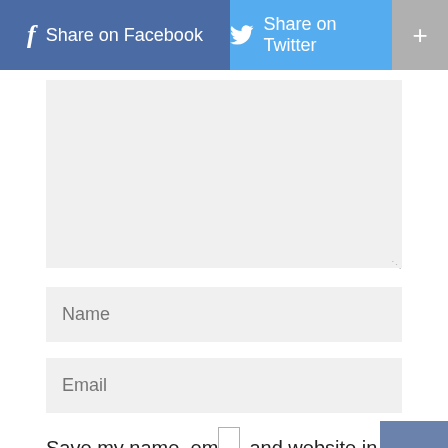[Figure (screenshot): Social share bar with Facebook (blue), Twitter (light blue), and plus (+) buttons]
[Figure (screenshot): Comment textarea input field (light gray background, empty)]
Name
Email
Save my name, email, and website in this browser for the next time I comment.